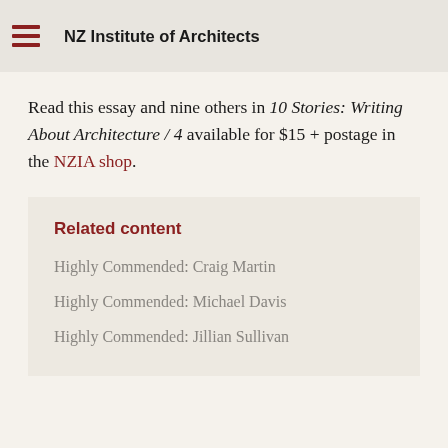NZ Institute of Architects
Read this essay and nine others in 10 Stories: Writing About Architecture / 4 available for $15 + postage in the NZIA shop.
Related content
Highly Commended: Craig Martin
Highly Commended: Michael Davis
Highly Commended: Jillian Sullivan